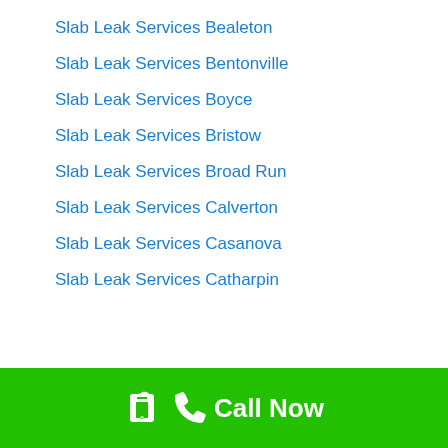Slab Leak Services Bealeton
Slab Leak Services Bentonville
Slab Leak Services Boyce
Slab Leak Services Bristow
Slab Leak Services Broad Run
Slab Leak Services Calverton
Slab Leak Services Casanova
Slab Leak Services Catharpin
Call Now